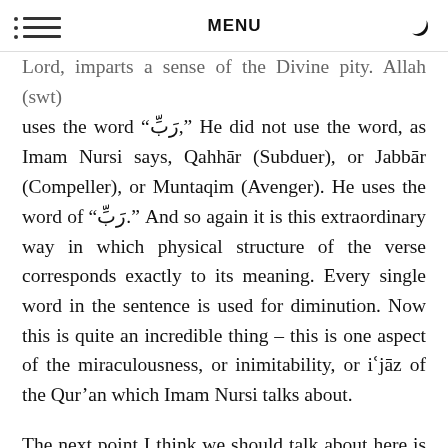MENU
Lord, imparts a sense of the Divine pity. Allah (swt) uses the word “رَبّ,” He did not use the word, as Imam Nursi says, Qahhār (Subduer), or Jabbār (Compeller), or Muntaqim (Avenger). He uses the word of “رَبّ.” And so again it is this extraordinary way in which physical structure of the verse corresponds exactly to its meaning. Every single word in the sentence is used for diminution. Now this is quite an incredible thing – this is one aspect of the miraculousness, or inimitability, or iʿjāz of the Qur’an which Imam Nursi talks about.
The next point I think we should talk about here is the fact in the Qur’an even though this was addressed towards people in the Arabian Peninsula